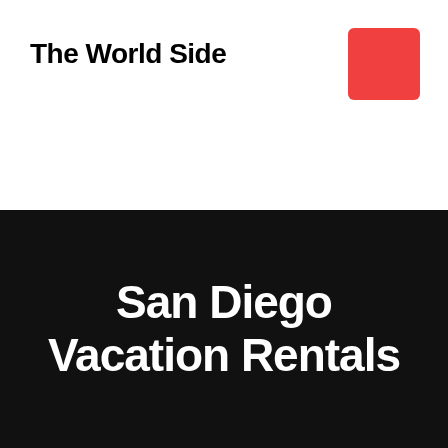The World Side
[Figure (illustration): Red rounded rectangle logo/icon positioned in top-right corner]
San Diego Vacation Rentals